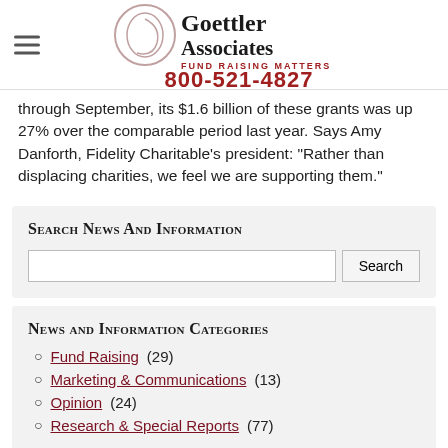Goettler Associates - Fund Raising Matters - 800-521-4827
through September, its $1.6 billion of these grants was up 27% over the comparable period last year. Says Amy Danforth, Fidelity Charitable's president: "Rather than displacing charities, we feel we are supporting them."
Search News and Information
News and Information Categories
Fund Raising (29)
Marketing & Communications (13)
Opinion (24)
Research & Special Reports (77)